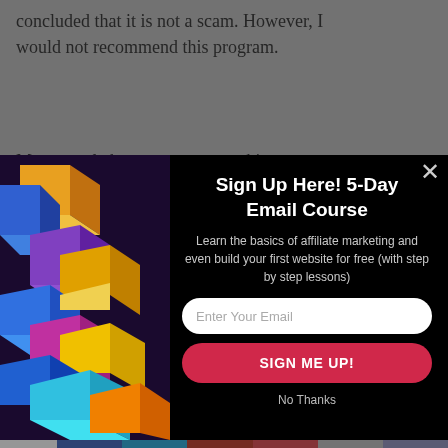concluded that it is not a scam. However, I would not recommend this program.
Most people have come across this program
[Figure (screenshot): Email signup modal popup with geometric colorful 3D cube illustration on the left, black background on the right with title 'Sign Up Here! 5-Day Email Course', subtitle text, email input field, 'SIGN ME UP!' button, and 'No Thanks' link. A close X button appears in the top right corner.]
How Does It Work
Shares
[Figure (infographic): Social media share buttons row: Facebook (blue), Twitter (teal), Google+ (dark red), Pinterest (red), Email (gray), Crown/Sumo (dark purple)]